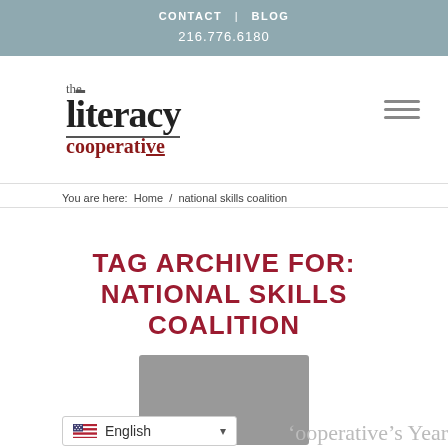CONTACT | BLOG
216.776.6180
[Figure (logo): The Literacy Cooperative logo with stylized text]
You are here: Home / national skills coalition
TAG ARCHIVE FOR: NATIONAL SKILLS COALITION
[Figure (photo): Gray placeholder image rectangle]
English
Cooperative's Year